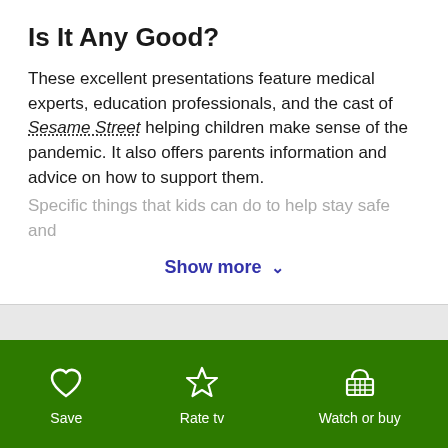Is It Any Good?
These excellent presentations feature medical experts, education professionals, and the cast of Sesame Street helping children make sense of the pandemic. It also offers parents information and advice on how to support them. Specific things that kids can do to help stay safe and
Show more ∨
Talk to Your Kids About ...
Families can talk about how they are dealing with the COVID-19 pandemic...